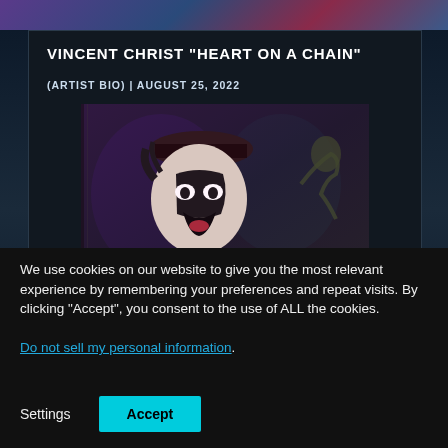[Figure (photo): Top strip showing partial colorful image]
VINCENT CHRIST “HEART ON A CHAIN”
(ARTIST BIO) | AUGUST 25, 2022
[Figure (photo): Screenshot from a music video showing an anime-style character with face paint, open mouth, against dark background]
DALEY HORNE “WELCOME TO THE...
We use cookies on our website to give you the most relevant experience by remembering your preferences and repeat visits. By clicking “Accept”, you consent to the use of ALL the cookies.
Do not sell my personal information.
Settings
Accept